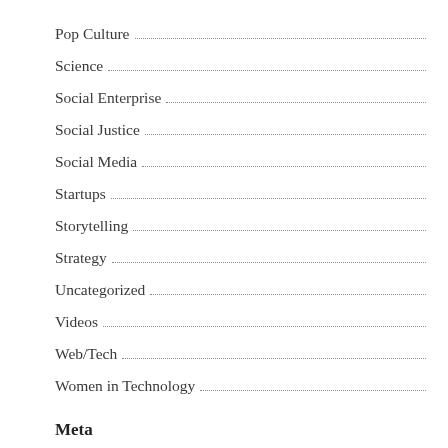Pop Culture
Science
Social Enterprise
Social Justice
Social Media
Startups
Storytelling
Strategy
Uncategorized
Videos
Web/Tech
Women in Technology
Meta